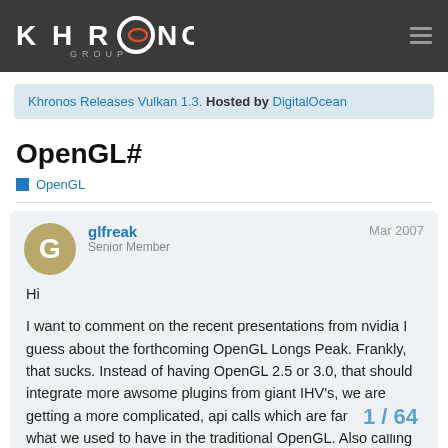Khronos Group (header bar with logo)
Khronos Releases Vulkan 1.3. Hosted by DigitalOcean
OpenGL#
OpenGL
glfreak
Senior Member
Mar 2007
Hi

I want to comment on the recent presentations from nvidia I guess about the forthcoming OpenGL Longs Peak. Frankly, that sucks. Instead of having OpenGL 2.5 or 3.0, that should integrate more awsome plugins from giant IHV's, we are getting a more complicated, api calls which are far away from what we used to have in the traditional OpenGL. Also calling it OpenGL#, like what MS did to C, by creati

(continues) 1 / 64